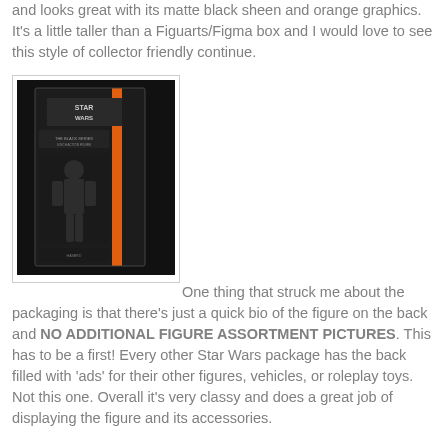and looks great with its matte black sheen and orange graphics. It's a little taller than a Figuarts/Figma box and I would love to see this style of collector friendly continue.
[Figure (photo): A Star Wars Black Series action figure in its packaging box. The box has a matte black finish with an orange vertical stripe graphic on the side. The packaging is in a clear protective case.]
One thing that struck me about the packaging is that there's just a quick bio of the figure on the back and NO ADDITIONAL FIGURE ASSORTMENT PICTURES. This has to be a first! Every other Star Wars package has the back filled with 'ads' for their other figures, vehicles, or roleplay toys. Not this one. Overall it's very classy and does a great job of displaying the figure and its accessories.